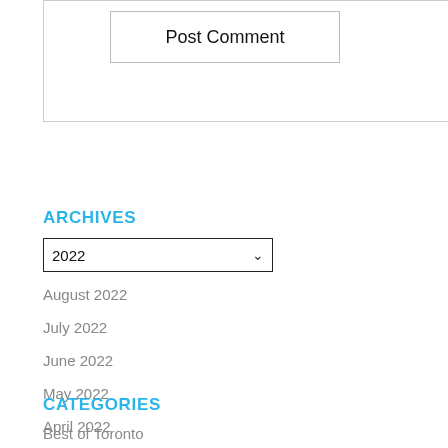[Figure (screenshot): Post Comment button inside a bordered box]
ARCHIVES
[Figure (screenshot): Dropdown selector showing 2022 with chevron]
August 2022
July 2022
June 2022
May 2022
April 2022
March 2022
February 2022
January 2022
CATEGORIES
Best of Toronto